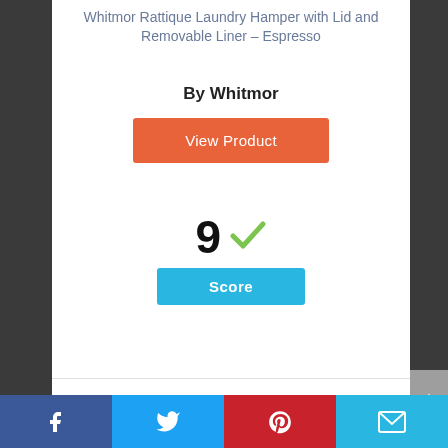Whitmor Rattique Laundry Hamper with Lid and Removable Liner – Espresso
By Whitmor
View Product
9 ✓
Score
[Figure (infographic): Circle badge with number 3 inside, outlined in blue]
Facebook | Twitter | Pinterest | Mail